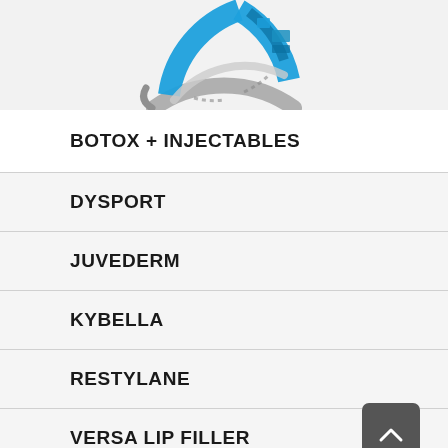[Figure (logo): Partial circular logo with blue and silver/chrome ring design, cropped at top]
BOTOX + INJECTABLES
DYSPORT
JUVEDERM
KYBELLA
RESTYLANE
VERSA LIP FILLER